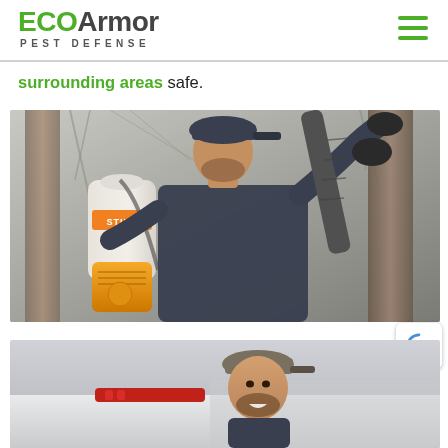ECOArmor PEST DEFENSE
surrounding areas safe.
[Figure (photo): Pest control technician using a STIHL backpack sprayer/blower unit to treat a tree, wearing dark long-sleeve shirt and cap]
[Figure (photo): Pest control technician smiling, standing in front of a service vehicle with red light bar on the roof]